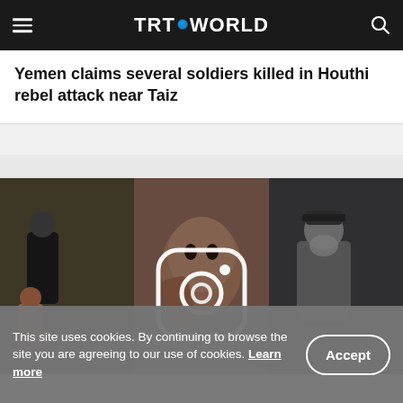TRT WORLD
Yemen claims several soldiers killed in Houthi rebel attack near Taiz
[Figure (photo): Composite image with an Instagram icon overlay, showing three panels: left panel with two people outdoors in winter clothing, center panel with a child lying down, right panel with an elderly man with beard.]
This site uses cookies. By continuing to browse the site you are agreeing to our use of cookies. Learn more